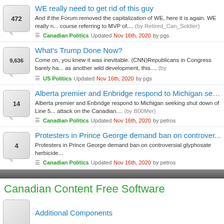WE really need to get rid of this guy — 472 replies. And if the Forum removed the capitalization of WE, here it is again. WE really n... course referring to MVP of.... (by Retired_Can_Soldier). Canadian Politics Updated Nov 16th, 2020 by pgs
What's Trump Done Now? — 9,636 replies. Come on, you knew it was inevitable. (CNN)Republicans in Congress barely ha... as another wild development, this.... (by Retired_Can_Soldier). US Politics Updated Nov 16th, 2020 by pgs
Alberta premier and Enbridge respond to Michigan see... pipeline — 14 replies. Alberta premier and Enbridge respond to Michigan seeking shut down of Line 5... attack on the Canadian.... (by B00Mer). Canadian Politics Updated Nov 16th, 2020 by petros
Protesters in Prince George demand ban on controver... — 4 replies. Protesters in Prince George demand ban on controversial glyphosate herbicide... Canadian Politics Updated Nov 16th, 2020 by petros
Canadian Content Free Software
Additional Components